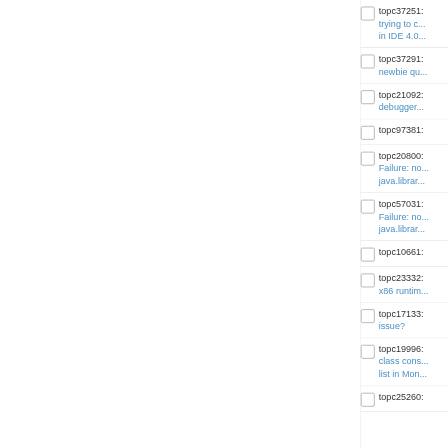topc37251: trying to c... in IDE 4.0...
topc37291: newbie qu...
topc21092: debugger...
topc97381:
topc20800: Failure: no... java.librar...
topc57031: Failure: no... java.librar...
topc10661:
topc23332: x86 runtim...
topc17133: issue?
topc19996: class cons... list in Mon...
topc25260: